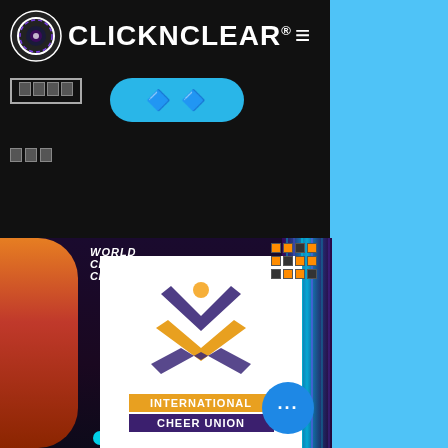[Figure (screenshot): ClickNClear website mobile screenshot showing logo header with navigation on black background, and photo of ICU (International Cheer Union) World Cheerleading Championships venue sign below]
CLICKNCLEAR®
[Figure (photo): Photo of World Cheerleading Championships venue showing ICU (International Cheer Union) logo on illuminated white sign with colorful stage lighting in purple and blue]